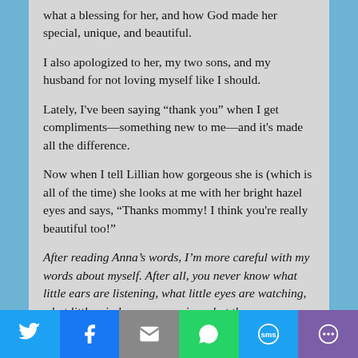what a blessing for her, and how God made her special, unique, and beautiful.
I also apologized to her, my two sons, and my husband for not loving myself like I should.
Lately, I've been saying “thank you” when I get compliments—something new to me—and it's made all the difference.
Now when I tell Lillian how gorgeous she is (which is all of the time) she looks at me with her bright hazel eyes and says, “Thanks mommy! I think you're really beautiful too!”
After reading Anna’s words, I’m more careful with my words about myself. After all, you never know what little ears are listening, what little eyes are watching, what little minds are processing what they
[Figure (infographic): Social media share bar with buttons for Twitter, Facebook, Email, WhatsApp, SMS, and More (purple).]